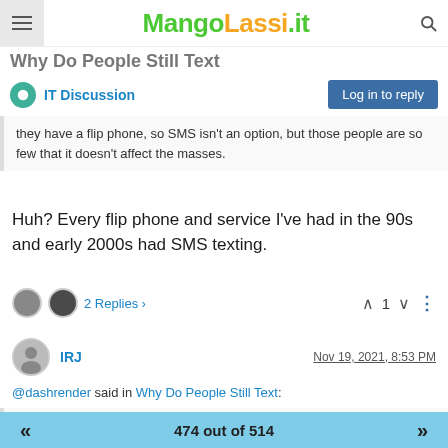MangoLassi - Why Do People Still Text
IT Discussion
they have a flip phone, so SMS isn't an option, but those people are so few that it doesn't affect the masses.
Huh? Every flip phone and service I've had in the 90s and early 2000s had SMS texting.
2 Replies > | 1
IRJ   Nov 19, 2021, 8:53 PM
@dashrender said in Why Do People Still Text:
The same could happen in the US - but my question is - how is it paid for? And I already mentioned that the gov't definitely doesn't want a third party to get in the mix and block their access to monitor
474 out of 514